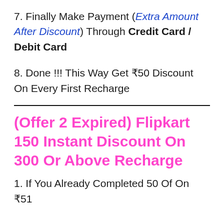7. Finally Make Payment (Extra Amount After Discount) Through Credit Card / Debit Card
8. Done !!! This Way Get ₹50 Discount On Every First Recharge
(Offer 2 Expired) Flipkart 150 Instant Discount On 300 Or Above Recharge
1. If You Already Completed 50 Of On ₹51